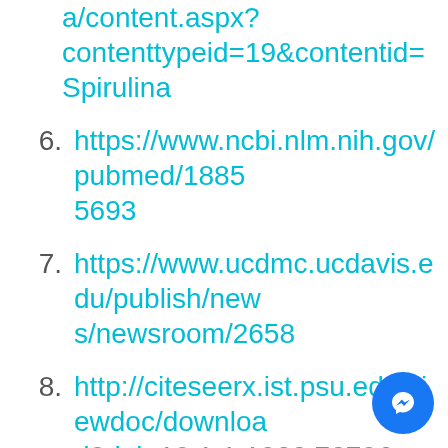a/content.aspx?contenttypeid=19&contentid=Spirulina
6. https://www.ncbi.nlm.nih.gov/pubmed/18855693
7. https://www.ucdmc.ucdavis.edu/publish/news/newsroom/2658
8. http://citeseerx.ist.psu.edu/viewdoc/download?doi=10.1.1.1022.7279&rep=rep1&type=pdf
9. https://www.ncbi.nlm.nih.gov/pmc/articles/PMC2907180/
10. https://www.ncbi.nlm.nih.gov/pubmed/4150